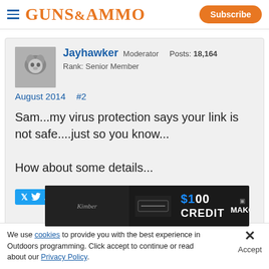Guns & Ammo — Subscribe
Jayhawker Moderator Posts: 18,164 Rank: Senior Member
August 2014   #2
Sam...my virus protection says your link is not safe....just so you know...

How about some details...
[Figure (screenshot): Advertisement banner: $100 CREDIT · MAKO with close button and up arrow]
We use cookies to provide you with the best experience in Outdoors programming. Click accept to continue or read about our Privacy Policy.